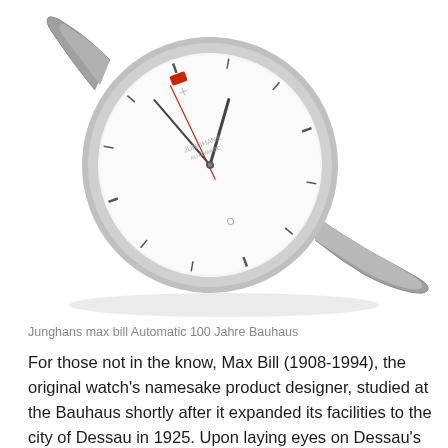[Figure (photo): A Junghans max bill Automatic 100 Jahre Bauhaus watch with a white minimalist dial, grey case, grey leather strap, and small red logo at the 12 o'clock position. The watch is photographed at an angle on a white background.]
Junghans max bill Automatic 100 Jahre Bauhaus
For those not in the know, Max Bill (1908-1994), the original watch's namesake product designer, studied at the Bauhaus shortly after it expanded its facilities to the city of Dessau in 1925. Upon laying eyes on Dessau's Bauhaus building after his arrival there in 1927, Bill was exhilarated by its "white walls and huge dark glass facades… and the balcony doors accentuated in red lead" and used those aesthetic elements in his work over the years, including the max bill watches and clocks that he designed for Junghans, a longtime client. The new watch, which is limited to 1,000 pieces, not only features